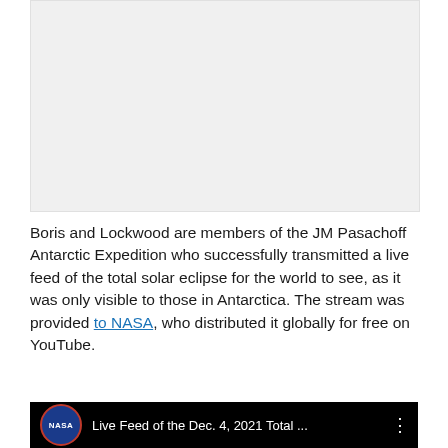[Figure (screenshot): Light gray placeholder rectangle representing an embedded video player]
Boris and Lockwood are members of the JM Pasachoff Antarctic Expedition who successfully transmitted a live feed of the total solar eclipse for the world to see, as it was only visible to those in Antarctica. The stream was provided to NASA, who distributed it globally for free on YouTube.
[Figure (screenshot): YouTube video card with NASA logo and title: Live Feed of the Dec. 4, 2021 Total ...]